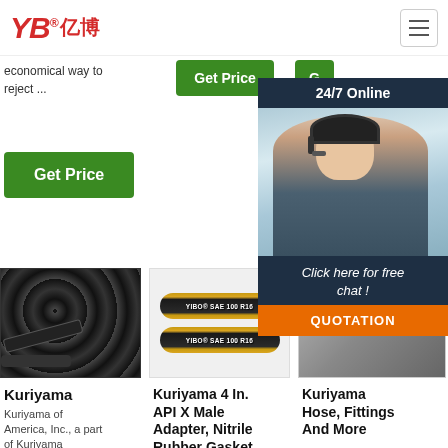YB亿博® — navigation header with hamburger menu
economical way to reject ...
Get Price
G
24/7 Online
Click here for free chat !
QUOTATION
Get Price
[Figure (photo): Hand holding coiled black hose/cable]
[Figure (photo): Two YIBO SAE 100 R16 hydraulic hoses]
[Figure (photo): Partial product image]
Kuriyama
Kuriyama of America, Inc., a part of Kuriyama
Kuriyama 4 In. API X Male Adapter, Nitrile Rubber Gasket
Kuriyama Hose, Fittings And More